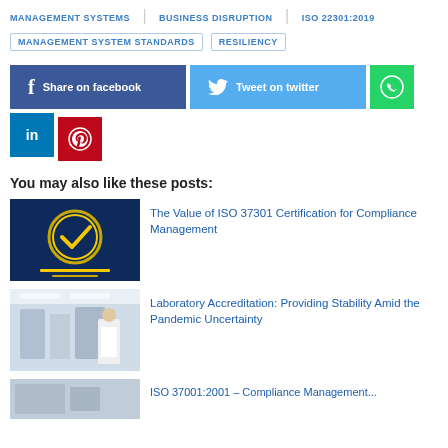MANAGEMENT SYSTEMS
BUSINESS DISRUPTION
ISO 22301:2019
MANAGEMENT SYSTEM STANDARDS
RESILIENCY
Share on facebook | Tweet on twitter | WhatsApp | LinkedIn | Pinterest
You may also like these posts:
[Figure (photo): Gold check mark badge on dark blue background]
The Value of ISO 37301 Certification for Compliance Management
[Figure (photo): Laboratory scene with scientist in white coat]
Laboratory Accreditation: Providing Stability Amid the Pandemic Uncertainty
[Figure (photo): Partial image at bottom of page]
ISO 37001:2001 – Compliance Management...